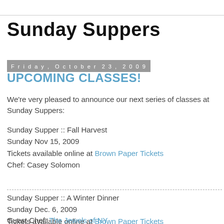Sunday Suppers
Friday, October 23, 2009
UPCOMING CLASSES!
We're very pleased to announce our next series of classes at Sunday Suppers:
Sunday Supper :: Fall Harvest
Sunday Nov 15, 2009
Tickets available online at Brown Paper Tickets
Chef: Casey Solomon
Sunday Supper :: A Winter Dinner
Sunday Dec. 6, 2009
Tickets available online at Brown Paper Tickets
Guest Chef: The Jewels of NY